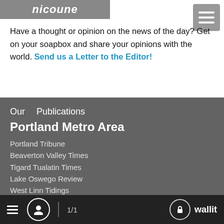[Figure (logo): News site logo with italic text on dark background]
Have a thought or opinion on the news of the day? Get on your soapbox and share your opinions with the world. Send us a Letter to the Editor!
Our  Publications
Portland Metro Area
Portland Tribune
Beaverton Valley Times
Tigard Tualatin Times
Lake Oswego Review
West Linn Tidings
Wilsonville Spokesman
Hillsboro Tribune
Forest Grove News Times
≡  👤  1/1   🔓 wallit